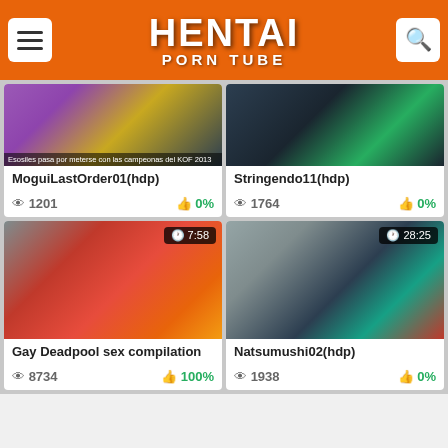HENTAI PORN TUBE
[Figure (screenshot): Thumbnail for MoguiLastOrder01(hdp) with caption 'Esosiles pasa por meterse con las campeonas del KOF 2013']
MoguiLastOrder01(hdp)
👁 1201   👍 0%
[Figure (screenshot): Thumbnail for Stringendo11(hdp)]
Stringendo11(hdp)
👁 1764   👍 0%
[Figure (screenshot): Thumbnail for Gay Deadpool sex compilation with duration 7:58]
Gay Deadpool sex compilation
👁 8734   👍 100%
[Figure (screenshot): Thumbnail for Natsumushi02(hdp) with duration 28:25]
Natsumushi02(hdp)
👁 1938   👍 0%